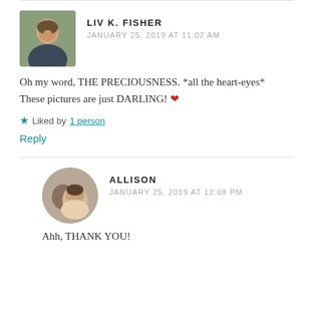[Figure (photo): Square avatar photo of Liv K. Fisher, a young woman smiling outdoors]
LIV K. FISHER
JANUARY 25, 2019 AT 11:02 AM
Oh my word, THE PRECIOUSNESS. *all the heart-eyes* These pictures are just DARLING! ❤
★ Liked by 1 person
Reply
[Figure (photo): Round avatar photo of Allison, a young woman smiling with someone beside her]
ALLISON
JANUARY 25, 2019 AT 12:08 PM
Ahh, THANK YOU!